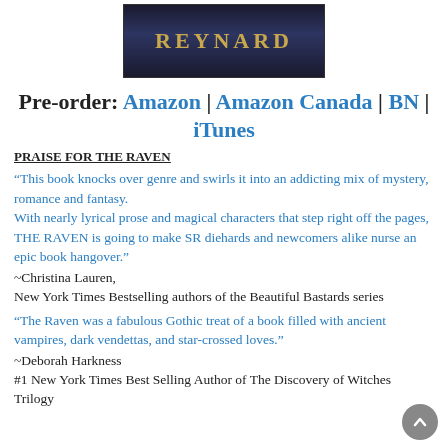[Figure (illustration): Book cover image with text REYNARD on dark background with golden text]
Pre-order: Amazon | Amazon Canada | BN | iTunes
PRAISE FOR THE RAVEN
“This book knocks over genre and swirls it into an addicting mix of mystery, romance and fantasy. With nearly lyrical prose and magical characters that step right off the pages, THE RAVEN is going to make SR diehards and newcomers alike nurse an epic book hangover.”
~Christina Lauren,
New York Times Bestselling authors of the Beautiful Bastards series
“The Raven was a fabulous Gothic treat of a book filled with ancient vampires, dark vendettas, and star-crossed loves.”
~Deborah Harkness
#1 New York Times Best Selling Author of The Discovery of Witches Trilogy